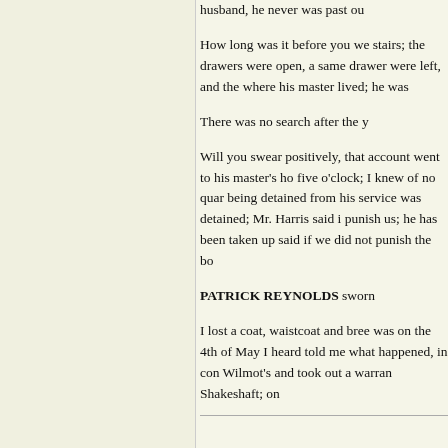husband, he never was past ou
How long was it before you we stairs; the drawers were open, a same drawer were left, and the where his master lived; he was
There was no search after the y
Will you swear positively, that account went to his master's ho five o'clock; I knew of no quar being detained from his service was detained; Mr. Harris said i punish us; he has been taken up said if we did not punish the bo
PATRICK REYNOLDS sworn
I lost a coat, waistcoat and bree was on the 4th of May I heard told me what happened, in con Wilmot's and took out a warran Shakeshaft; on